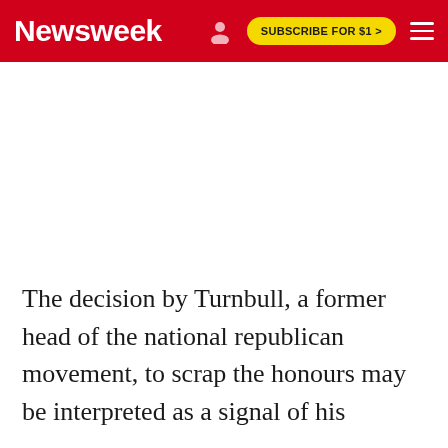Newsweek | SUBSCRIBE FOR $1 >
The decision by Turnbull, a former head of the national republican movement, to scrap the honours may be interpreted as a signal of his